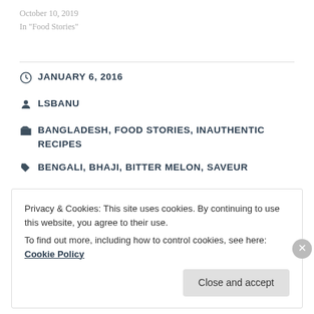October 10, 2019
In "Food Stories"
JANUARY 6, 2016
LSBANU
BANGLADESH, FOOD STORIES, INAUTHENTIC RECIPES
BENGALI, BHAJI, BITTER MELON, SAVEUR
Privacy & Cookies: This site uses cookies. By continuing to use this website, you agree to their use.
To find out more, including how to control cookies, see here: Cookie Policy